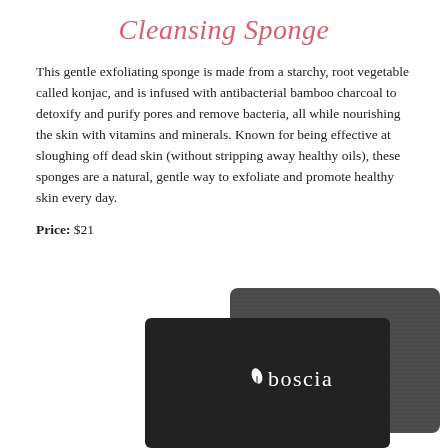Cleansing Sponge
This gentle exfoliating sponge is made from a starchy, root vegetable called konjac, and is infused with antibacterial bamboo charcoal to detoxify and purify pores and remove bacteria, all while nourishing the skin with vitamins and minerals. Known for being effective at sloughing off dead skin (without stripping away healthy oils), these sponges are a natural, gentle way to exfoliate and promote healthy skin every day.
Price: $21
[Figure (photo): Product photo of a dark charcoal-colored Boscia cleansing sponge showing a black rectangular sponge with the Boscia logo in white text, photographed against a white background.]